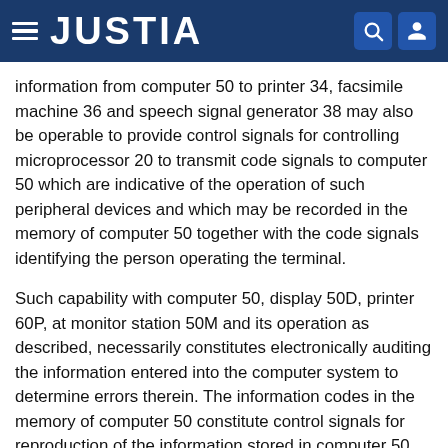JUSTIA
information from computer 50 to printer 34, facsimile machine 36 and speech signal generator 38 may also be operable to provide control signals for controlling microprocessor 20 to transmit code signals to computer 50 which are indicative of the operation of such peripheral devices and which may be recorded in the memory of computer 50 together with the code signals identifying the person operating the terminal.
Such capability with computer 50, display 50D, printer 60P, at monitor station 50M and its operation as described, necessarily constitutes electronically auditing the information entered into the computer system to determine errors therein. The information codes in the memory of computer 50 constitute control signals for reproduction of the information stored in computer 50 onto display 50D or printer 60P constituting visual